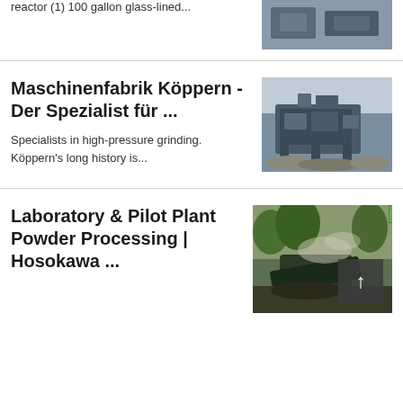reactor (1) 100 gallon glass-lined...
[Figure (photo): Industrial machinery photo (partial, top of page)]
Maschinenfabrik Köppern - Der Spezialist für ...
[Figure (photo): Heavy industrial crushing/grinding machinery outdoors with rocks]
Specialists in high-pressure grinding. Köppern's long history is...
Laboratory & Pilot Plant Powder Processing | Hosokawa ...
[Figure (photo): Outdoor industrial equipment with dust/smoke, green foliage background]